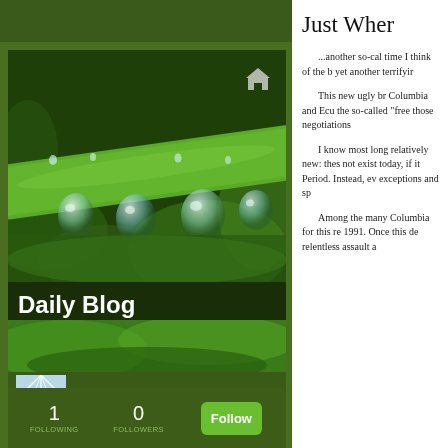[Figure (photo): Close-up macro photo of water droplets on a green plant stem/grass blade against a blurred green background]
Daily Blog
[Figure (illustration): User avatar: light blue square with white spider web pattern]
JT
1
FOLLOWING
0
FOLLOWERS
Follow
Just Wher
...another so-called time I think of the b yet another terrifyir
This new ugly br Columbia and Ecu the so-called "free those negotiations
I know most long relatively new: thes not exist today, if it Period. Instead, ev exceptions and sp
Among the many Columbia for this re 1991. Once this de relentless assault a